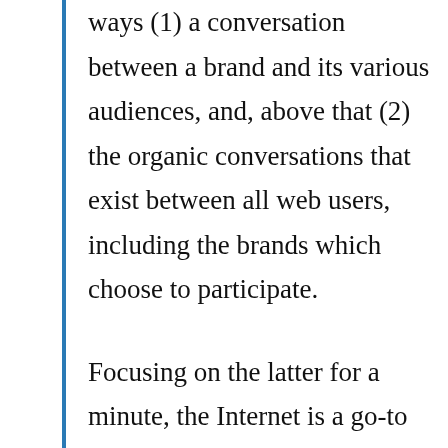ways (1) a conversation between a brand and its various audiences, and, above that (2) the organic conversations that exist between all web users, including the brands which choose to participate.
Focusing on the latter for a minute, the Internet is a go-to platform for networked interaction, and the technology that enables social media, like blogs, social networks, media sharing sites etc, provides rich fuel for that interaction. The ease with which